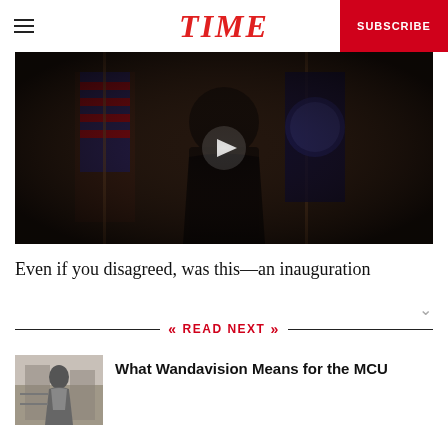TIME
[Figure (photo): Dark video thumbnail showing a person in a dark coat standing between an American flag and a Presidential seal flag, with a play button overlay]
Even if you disagreed, was this—an inauguration
READ NEXT
[Figure (photo): Black and white thumbnail image of a woman in a dress standing near shelving or furniture]
What Wandavision Means for the MCU